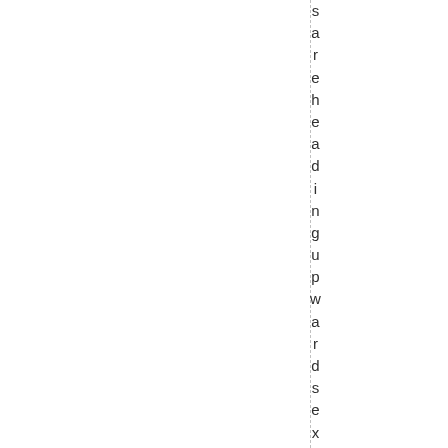s a r e h e a d i n g u p w a r d s e x c e p t f o r t h e D